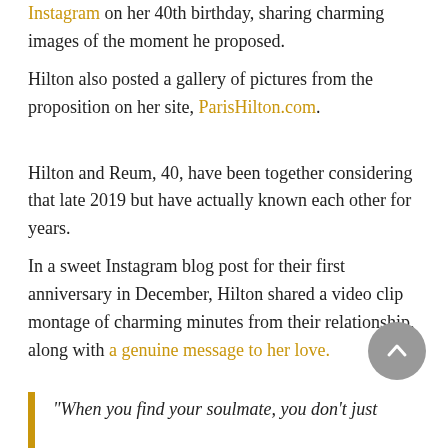Instagram on her 40th birthday, sharing charming images of the moment he proposed.
Hilton also posted a gallery of pictures from the proposition on her site, ParisHilton.com.
Hilton and Reum, 40, have been together considering that late 2019 but have actually known each other for years.
In a sweet Instagram blog post for their first anniversary in December, Hilton shared a video clip montage of charming minutes from their relationship, along with a genuine message to her love.
“When you find your soulmate, you don’t just